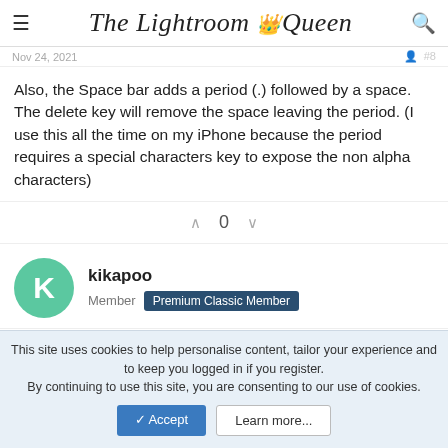The Lightroom Queen
Nov 24, 2021
Also, the Space bar adds a period (.) followed by a space. The delete key will remove the space leaving the period. (I use this all the time on my iPhone because the period requires a special characters key to expose the non alpha characters)
0
kikapoo
Member  Premium Classic Member
Nov 24, 2021  #9
This site uses cookies to help personalise content, tailor your experience and to keep you logged in if you register.
By continuing to use this site, you are consenting to our use of cookies.